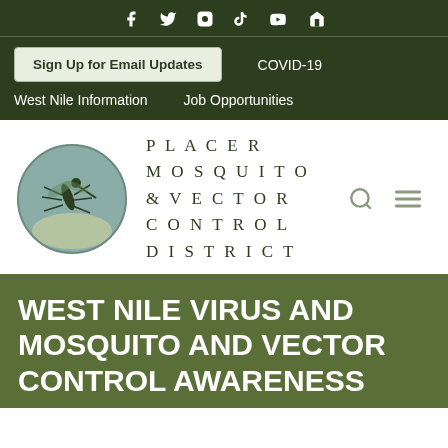[Figure (infographic): Social media icons row: Facebook, Twitter, Instagram, TikTok, YouTube, Home icon — white on dark green background]
Sign Up for Email Updates
COVID-19
West Nile Information
Job Opportunities
[Figure (logo): Placer Mosquito & Vector Control District logo: circular badge with mosquito illustration on teal/sage background, beside text PLACER MOSQUITO & VECTOR CONTROL DISTRICT in spaced serif letters]
WEST NILE VIRUS AND MOSQUITO AND VECTOR CONTROL AWARENESS